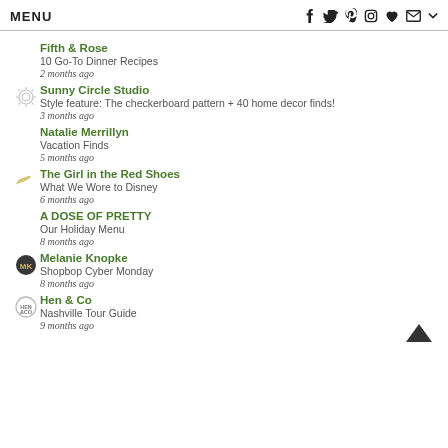MENU | social icons: f, twitter, pinterest, instagram, heart, mail, chevron
Fifth & Rose | 10 Go-To Dinner Recipes | 2 months ago
Sunny Circle Studio | Style feature: The checkerboard pattern + 40 home decor finds! | 3 months ago
Natalie Merrillyn | Vacation Finds | 5 months ago
The Girl in the Red Shoes | What We Wore to Disney | 6 months ago
A DOSE OF PRETTY | Our Holiday Menu | 8 months ago
Melanie Knopke | Shopbop Cyber Monday | 8 months ago
Hen & Co | Nashville Tour Guide | 9 months ago